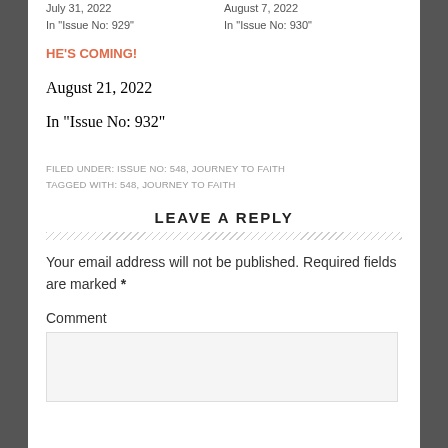July 31, 2022
In "Issue No: 929"
August 7, 2022
In "Issue No: 930"
HE'S COMING!
August 21, 2022
In "Issue No: 932"
FILED UNDER: ISSUE NO: 548, JOURNEY TO FAITH
TAGGED WITH: 548, JOURNEY TO FAITH
LEAVE A REPLY
Your email address will not be published. Required fields are marked *
Comment